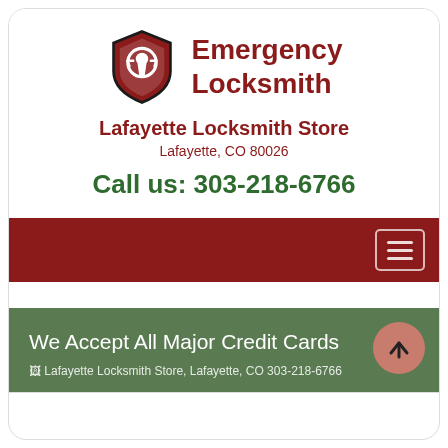[Figure (logo): Emergency Locksmith shield logo with keyhole icon, red and black colors, with 'Emergency Locksmith' text in dark red]
Lafayette Locksmith Store
Lafayette, CO 80026
Call us: 303-218-6766
[Figure (other): Red navigation bar with hamburger menu button on the right]
We Accept All Major Credit Cards
Lafayette Locksmith Store, Lafayette, CO 303-218-6766